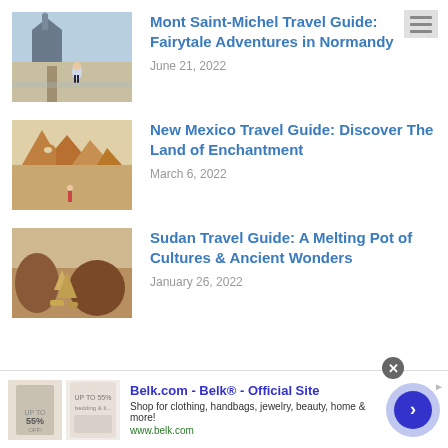[Figure (photo): Woman standing on causeway leading to Mont Saint-Michel island with tidal flats]
Mont Saint-Michel Travel Guide: Fairytale Adventures in Normandy
June 21, 2022
[Figure (photo): Rocky desert landscape with red/orange rock formations and a small figure]
New Mexico Travel Guide: Discover The Land of Enchantment
March 6, 2022
[Figure (photo): Ancient stone ruins and large rock formations in a desert landscape, Sudan]
Sudan Travel Guide: A Melting Pot of Cultures & Ancient Wonders
January 26, 2022
[Figure (infographic): Belk.com advertisement banner with clothing images, ad title, description, and circular arrow button]